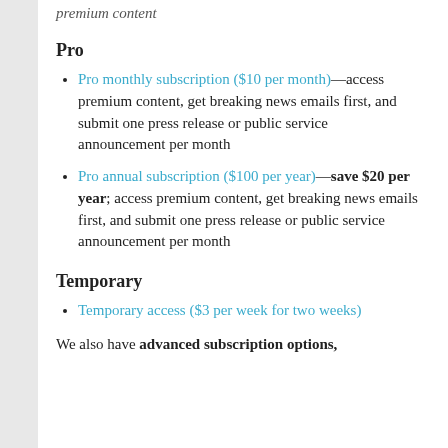premium content
Pro
Pro monthly subscription ($10 per month)—access premium content, get breaking news emails first, and submit one press release or public service announcement per month
Pro annual subscription ($100 per year)—save $20 per year; access premium content, get breaking news emails first, and submit one press release or public service announcement per month
Temporary
Temporary access ($3 per week for two weeks)
We also have advanced subscription options,